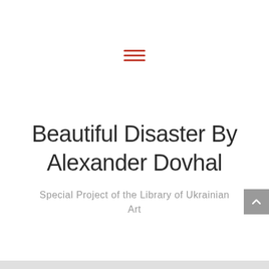[Figure (other): Hamburger menu icon made of three horizontal red lines]
Beautiful Disaster By Alexander Dovhal
Special Project of the Library of Ukrainian Art